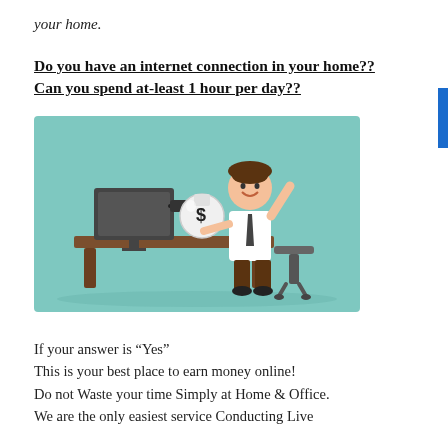your home.
Do you have an internet connection in your home??
Can you spend at-least 1 hour per day??
[Figure (illustration): Cartoon illustration of a businessman sitting at a desk with a computer monitor. A hand from the monitor is handing him a money bag with a dollar sign. The man has one arm raised in celebration.]
If your answer is “Yes”
This is your best place to earn money online!
Do not Waste your time Simply at Home & Office.
We are the only easiest service Conducting Live